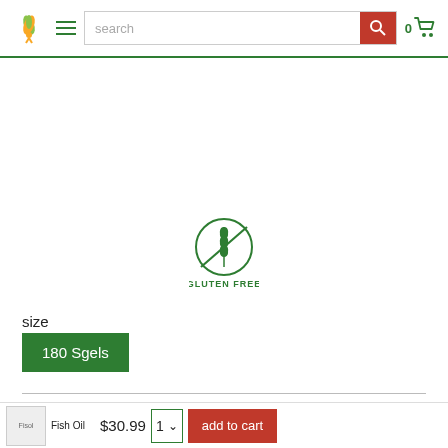search bar with logo, hamburger menu, search input, and cart icon
[Figure (illustration): Gluten Free badge: circle with wheat stalk and a diagonal line through it, with text GLUTEN FREE below]
size
180 Sgels
Subscribe now to unlock free shipping over $35 on all future EasyRefill orders
Fisol Fish Oil $30.99   1   add to cart